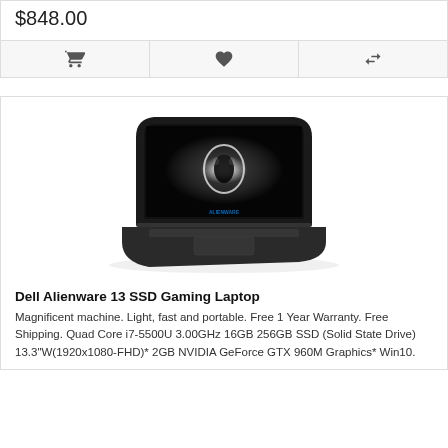$848.00
[Figure (other): Icon bar with shopping cart, heart/wishlist, and compare arrows icons]
[Figure (photo): Dell Alienware 13 SSD Gaming Laptop shown at an angle, open, with glowing Alienware logo on screen against black background]
Dell Alienware 13 SSD Gaming Laptop
Magnificent machine. Light, fast and portable. Free 1 Year Warranty. Free Shipping. Quad Core i7-5500U 3.00GHz 16GB 256GB SSD (Solid State Drive) 13.3"W(1920x1080-FHD)* 2GB NVIDIA GeForce GTX 960M Graphics* Win10.